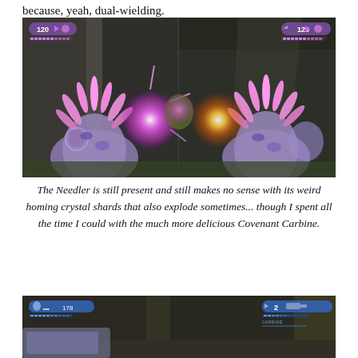because, yeah, dual-wielding.
[Figure (screenshot): Dual-screen Halo 2 gameplay screenshot showing a Needler weapon firing glowing pink/purple crystal shards at an enemy, with HUD showing 120 ammo count in purple UI elements on both screens]
The Needler is still present and still makes no sense with its weird homing crystal shards that also explode sometimes... though I spent all the time I could with the much more delicious Covenant Carbine.
[Figure (screenshot): Halo 2 gameplay screenshot showing a weapon (Covenant Carbine) with blue HUD elements, partially visible indoor corridor scene]